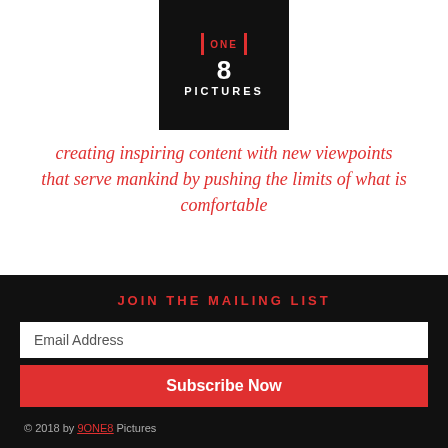[Figure (logo): 9ONE8 Pictures logo — black background box with red vertical bars, large number 8, and PICTURES text in white]
creating inspiring content with new viewpoints that serve mankind by pushing the limits of what is comfortable
JOIN THE MAILING LIST
Email Address
Subscribe Now
IDENTITY The Docuseries is registered with the WGA.
© 2018 by 9ONE8 Pictures